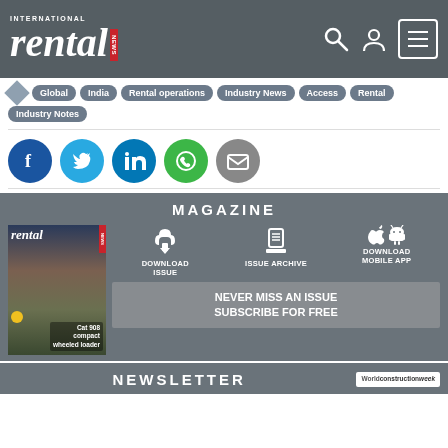[Figure (screenshot): International Rental News website header with logo, search icon, user icon, and menu icon on dark grey background]
Global | India | Rental operations | Industry News | Access | Rental | Industry Notes
[Figure (infographic): Social sharing buttons: Facebook, Twitter, LinkedIn, WhatsApp, Email]
MAGAZINE
[Figure (infographic): Magazine section with cover showing Cat 908 compact wheeled loader, Download Issue, Issue Archive, Download Mobile App icons, and Subscribe bar]
NEWSLETTER